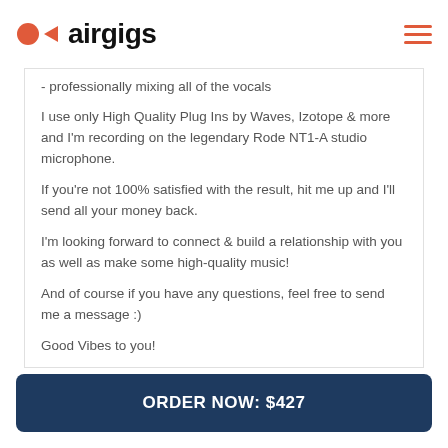airgigs
- professionally mixing all of the vocals
I use only High Quality Plug Ins by Waves, Izotope & more and I'm recording on the legendary Rode NT1-A studio microphone.
If you're not 100% satisfied with the result, hit me up and I'll send all your money back.
I'm looking forward to connect & build a relationship with you as well as make some high-quality music!
And of course if you have any questions, feel free to send me a message :)
Good Vibes to you!
ORDER NOW: $427